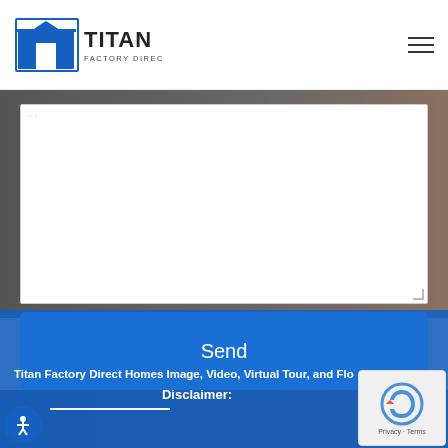Titan Factory Direct Homes
[Figure (screenshot): Web form textarea (white input box) on a dark background, partially visible]
Send
[Figure (photo): Background photo showing interior scene, dark figure on left, room on right]
Titan Factory Direct Homes Image, Video, Virtual Tour, and Flo...
Disclaimer: